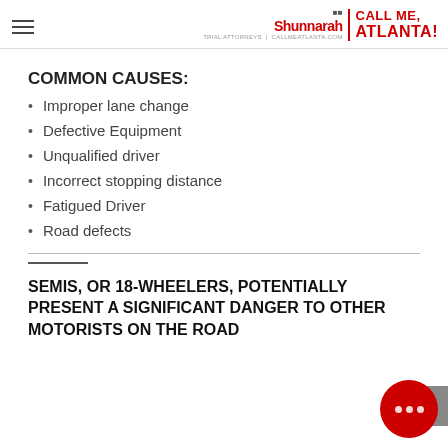Alexander Shunnarah | CALL ME, ATLANTA!
COMMON CAUSES:
Improper lane change
Defective Equipment
Unqualified driver
Incorrect stopping distance
Fatigued Driver
Road defects
SEMIS, OR 18-WHEELERS, POTENTIALLY PRESENT A SIGNIFICANT DANGER TO OTHER MOTORISTS ON THE ROAD